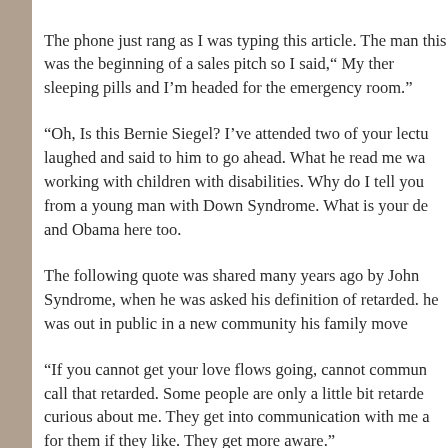The phone just rang as I was typing this article. The man this was the beginning of a sales pitch so I said,“ My ther sleeping pills and I’m headed for the emergency room.”
“Oh, Is this Bernie Siegel? I’ve attended two of your lectu laughed and said to him to go ahead. What he read me wa working with children with disabilities. Why do I tell you from a young man with Down Syndrome. What is your de and Obama here too.
The following quote was shared many years ago by John Syndrome, when he was asked his definition of retarded. he was out in public in a new community his family move
“If you cannot get your love flows going, cannot commun call that retarded. Some people are only a little bit retarde curious about me. They get into communication with me a for them if they like. They get more aware.”